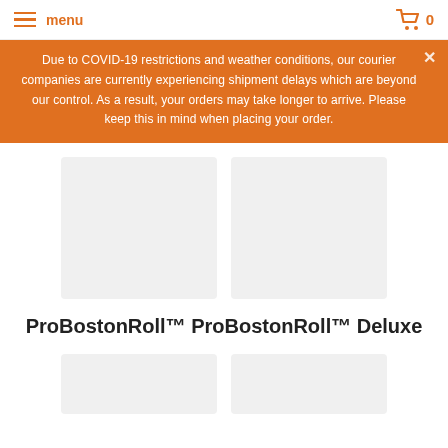menu   0
Due to COVID-19 restrictions and weather conditions, our courier companies are currently experiencing shipment delays which are beyond our control. As a result, your orders may take longer to arrive. Please keep this in mind when placing your order.
[Figure (photo): Two product image placeholders (light gray rectangles) side by side in the upper product section]
ProBostonRoll™ ProBostonRoll™ Deluxe
[Figure (photo): Two product image placeholders (light gray rectangles) side by side in the lower product section, partially visible]